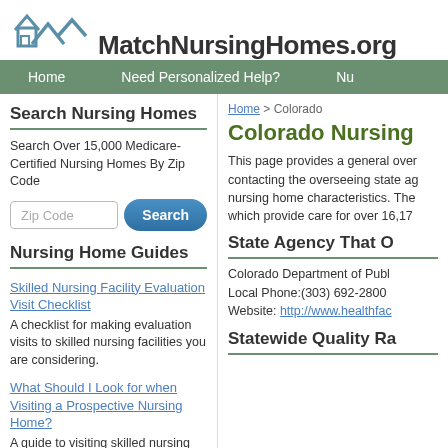[Figure (logo): MatchNursingHomes.org logo with house/roof icon in blue-gray]
Home   Need Personalized Help?   Nu
Search Nursing Homes
Search Over 15,000 Medicare-Certified Nursing Homes By Zip Code
Nursing Home Guides
Skilled Nursing Facility Evaluation Visit Checklist — A checklist for making evaluation visits to skilled nursing facilities you are considering.
What Should I Look for when Visiting a Prospective Nursing Home? — A guide to visiting skilled nursing facilities as part of the process of choosing a facility.
Home > Colorado
Colorado Nursing
This page provides a general over contacting the overseeing state ag nursing home characteristics. The which provide care for over 16,17
State Agency That O
Colorado Department of Publ Local Phone:(303) 692-2800 Website: http://www.healthfac
Statewide Quality Ra